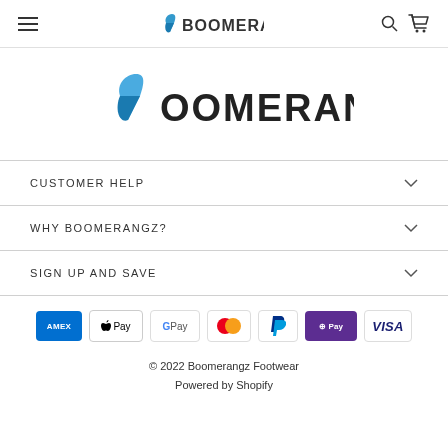BOOMERANGZ navigation bar with hamburger menu, logo, search and cart icons
[Figure (logo): Boomerangz logo — blue boomerang chevron icon followed by BOOMERANGZ text]
CUSTOMER HELP
WHY BOOMERANGZ?
SIGN UP AND SAVE
[Figure (infographic): Payment method icons: AMEX, Apple Pay, Google Pay, Mastercard, PayPal, Shop Pay, Visa]
© 2022 Boomerangz Footwear
Powered by Shopify